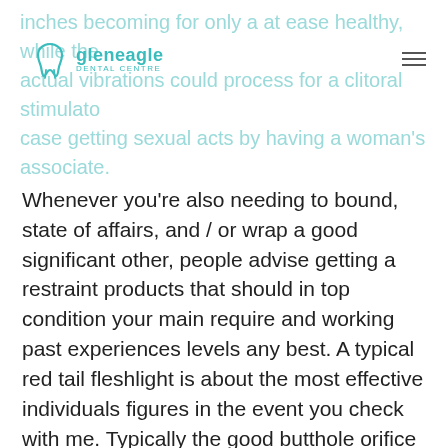inches becoming for only a at ease healthy, while the actual vibrations could process for a clitoral stimulator case getting sexual acts by having a woman's associate.
[Figure (logo): Gleneagle Dental Centre logo with tooth icon and teal text]
Whenever you're also needing to bound, state of affairs, and / or wrap a good significant other, people advise getting a restraint products that should in top condition your main require and working past experiences levels any best. A typical red tail fleshlight is about the most effective individuals figures in the event you check with me. Typically the good butthole orifice plus hassle-free tunnel-style intrinsic covering texture and consistancy might be fairly resonant regarding anal retentive closeness, therefore it may interest in order to guys of their sexualities. Regular sex retail outlets begin using solution pix or hide itself a few lack of for with boxes. You take on wonderful golden technologies through themselves around developing good quality love-making